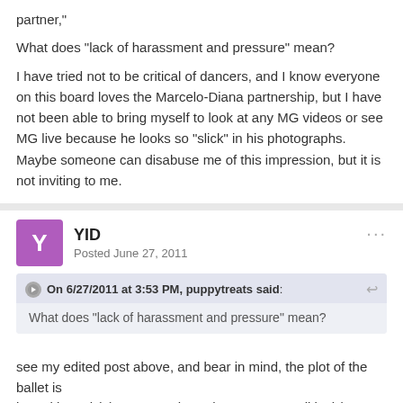partner,"
What does "lack of harassment and pressure" mean?
I have tried not to be critical of dancers, and I know everyone on this board loves the Marcelo-Diana partnership, but I have not been able to bring myself to look at any MG videos or see MG live because he looks so "slick" in his photographs. Maybe someone can disabuse me of this impression, but it is not inviting to me.
YID
Posted June 27, 2011
On 6/27/2011 at 3:53 PM, puppytreats said:
What does "lack of harassment and pressure" mean?
see my edited post above, and bear in mind, the plot of the ballet is based in 19th(?) century, where there was no political (or sexual)